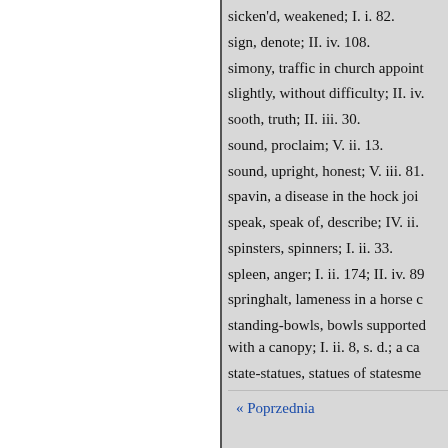sicken'd, weakened; I. i. 82.
sign, denote; II. iv. 108.
simony, traffic in church appoint
slightly, without difficulty; II. iv.
sooth, truth; II. iii. 30.
sound, proclaim; V. ii. 13.
sound, upright, honest; V. iii. 81.
spavin, a disease in the hock joi
speak, speak of, describe; IV. ii.
spinsters, spinners; I. ii. 33.
spleen, anger; I. ii. 174; II. iv. 89
springhalt, lameness in a horse c
standing-bowls, bowls supported with a canopy; I. ii. 8, s. d.; a ca
state-statues, statues of statesme
« Poprzednia